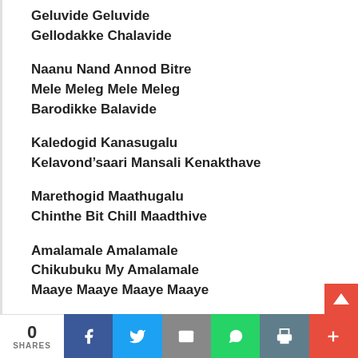Geluvide Geluvide
Gellodakke Chalavide
Naanu Nand Annod Bitre
Mele Meleg Mele Meleg
Barodikke Balavide
Kaledogid Kanasugalu
Kelavond’saari Mansali Kenakthave
Marethogid Maathugalu
Chinthe Bit Chill Maadthive
Amalamale Amalamale
Chikubuku My Amalamale
Maaye Maaye Maaye Maaye
Maaye Maaye Maaye Maaye
0 SHARES | Facebook | Twitter | Email | WhatsApp | Print | Plus